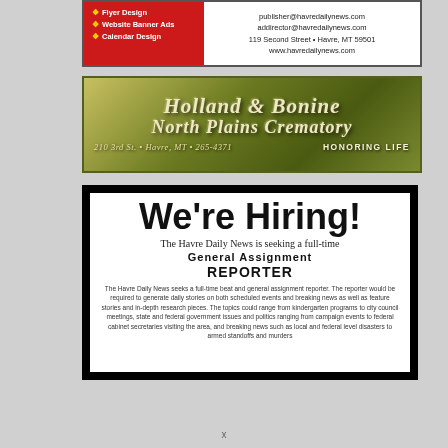[Figure (infographic): Havre Daily News advertisement with red left panel showing Flyer Design, Website Banner Ads, Calendar Design services, and white right panel with contact info: publisher@havredailynews.com, addirector@havredailynews.com, 119 Second Street, Havre MT 59501, www.havredailynews.com]
[Figure (infographic): Holland & Bonine North Plains Crematory advertisement on olive/gold gradient background with script text. Address: 210 3rd St., Havre, MT, 265-4371. Tagline: HONORING LIFE]
[Figure (infographic): We're Hiring advertisement for Havre Daily News seeking a full-time General Assignment Reporter. Black border with white inner panel. Details about beat and general assignment reporter duties.]